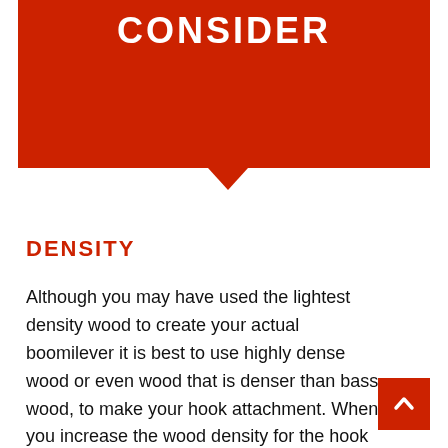CONSIDER
DENSITY
Although you may have used the lightest density wood to create your actual boomilever it is best to use highly dense wood or even wood that is denser than bass wood, to make your hook attachment. When you increase the wood density for the hook attachment piece, you